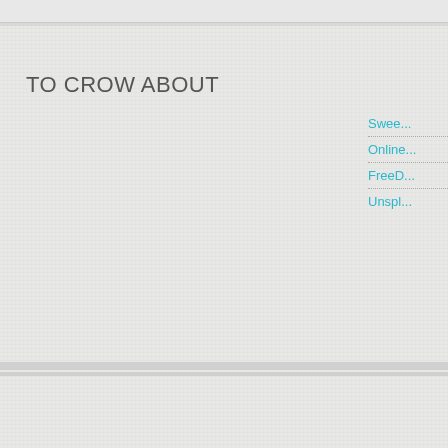TO CROW ABOUT
Swee...
Online...
FreeD...
Unspl...
[Figure (logo): Green badge with white text starting with 'Ve']
A Her...
ARCHIVES
Select Month